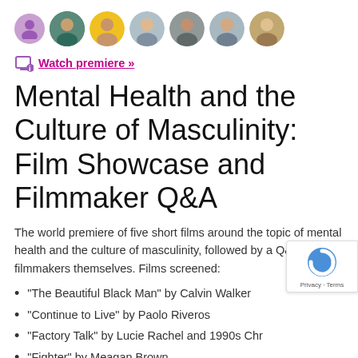[Figure (photo): Row of circular avatar photos of people, with a purple person silhouette icon on the left]
Watch premiere »
Mental Health and the Culture of Masculinity: Film Showcase and Filmmaker Q&A
The world premiere of five short films around the topic of mental health and the culture of masculinity, followed by a Q&A with the filmmakers themselves. Films screened:
"The Beautiful Black Man" by Calvin Walker
"Continue to Live" by Paolo Riveros
"Factory Talk" by Lucie Rachel and 1990s Chr
"Fighter" by Meagan Brown
"Masc" by Amilcar Javier